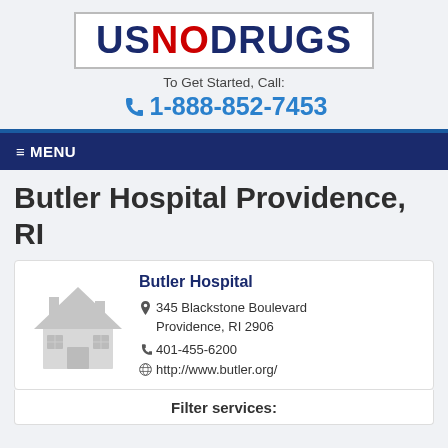USNODRUGS
To Get Started, Call:
1-888-852-7453
≡ MENU
Butler Hospital Providence, RI
Butler Hospital
345 Blackstone Boulevard
Providence, RI 2906
401-455-6200
http://www.butler.org/
[Figure (illustration): Gray house/building icon placeholder image]
Filter services: